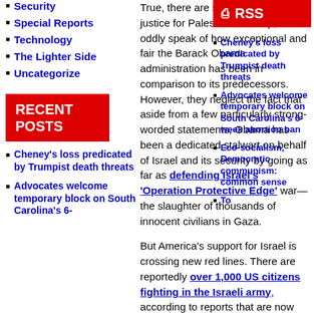Security
Special Reports
Technology
The Lighter Side
Uncategorize
RECENT POSTS
Cheney's loss predicated by Trumpist death threats
Advocates welcome temporary block on South Carolina's 6-
True, there are some, even in the justice for Palestinians camp, who oddly speak of how exceptional and fair the Barack Obama administration has been in comparison to its predecessors. However, they neglect the fact that aside from a few particularly strong-worded statements, Obama has been a dedicated stalwart on behalf of Israel and its security by going as far as defending Israel's 'Operation Protective Edge' war—the slaughter of thousands of innocent civilians in Gaza.
But America's support for Israel is crossing new red lines. There are reportedly over 1,000 US citizens fighting in the Israeli army, according to reports that are now resurfacing due to the recent killing of two US-Israeli soldiers—Max Steinberg, 24, of California, and Nissim Sean Carmeli, 21, of Texas. Like the rest of the IDF soldiers killed in recent fighting, they were killed
[Figure (other): RSS feed icon and label in red box]
Cheney's loss predicated by Trumpist death threats
Advocates welcome temporary block on South Carolina's 6-week abortion ban
Eco-socialism, Democratic communism: common sense
To